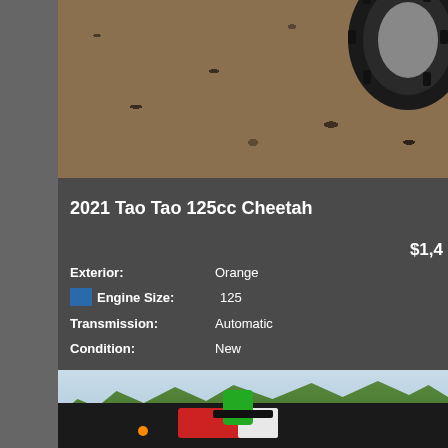[Figure (photo): Close-up photo of ATV/dirt bike tire on dirt/mulch ground surface, showing tread pattern]
2021 Tao Tao 125cc Cheetah
$1,4
Exterior: Orange
Engine Size: 125
Transmission: Automatic
Condition: New
[Figure (photo): ATV/dirt bike outdoors with green trees in background, showing handlebars and partial body with red and white graphics]